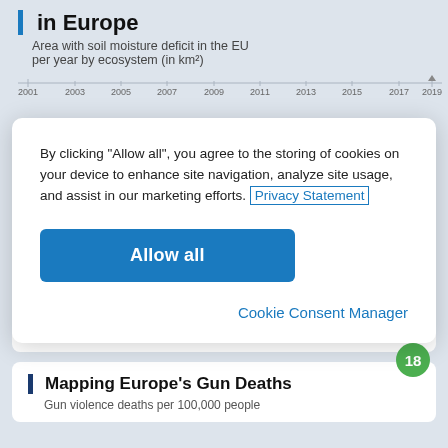in Europe
Area with soil moisture deficit in the EU per year by ecosystem (in km²)
[Figure (continuous-plot): Partial horizontal axis showing years from 2001 to 2019 with tick marks]
By clicking “Allow all”, you agree to the storing of cookies on your device to enhance site navigation, analyze site usage, and assist in our marketing efforts. Privacy Statement
Allow all
Cookie Consent Manager
The Danger of Drought in Europe
Jul 20, 2022
Mapping Europe’s Gun Deaths
Gun violence deaths per 100,000 people